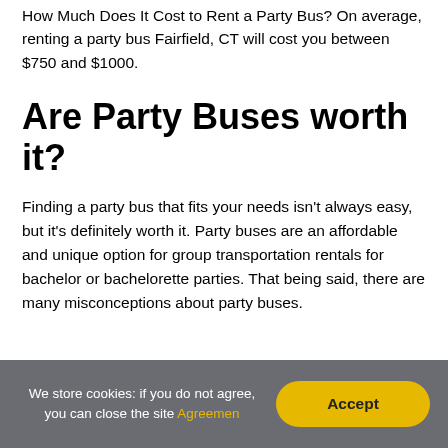How Much Does It Cost to Rent a Party Bus? On average, renting a party bus Fairfield, CT will cost you between $750 and $1000.
Are Party Buses worth it?
Finding a party bus that fits your needs isn't always easy, but it's definitely worth it. Party buses are an affordable and unique option for group transportation rentals for bachelor or bachelorette parties. That being said, there are many misconceptions about party buses.
We store cookies: if you do not agree, you can close the site Agreemen  Accept